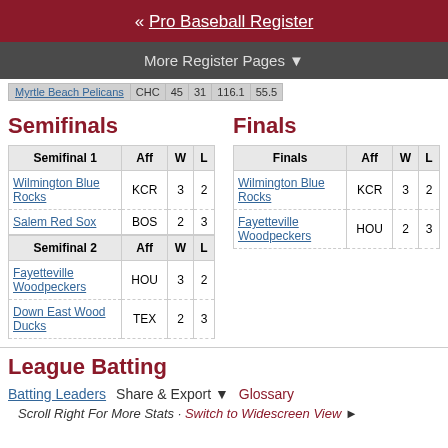« Pro Baseball Register
More Register Pages ▼
| Myrtle Beach Pelicans | CHC | 45 | 31 | 116.1 | 55.5 |
| --- | --- | --- | --- | --- | --- |
Semifinals
| Semifinal 1 | Aff | W | L |
| --- | --- | --- | --- |
| Wilmington Blue Rocks | KCR | 3 | 2 |
| Salem Red Sox | BOS | 2 | 3 |
| Semifinal 2 | Aff | W | L |
| Fayetteville Woodpeckers | HOU | 3 | 2 |
| Down East Wood Ducks | TEX | 2 | 3 |
Finals
| Finals | Aff | W | L |
| --- | --- | --- | --- |
| Wilmington Blue Rocks | KCR | 3 | 2 |
| Fayetteville Woodpeckers | HOU | 2 | 3 |
League Batting
Batting Leaders   Share & Export ▼   Glossary
Scroll Right For More Stats · Switch to Widescreen View ►